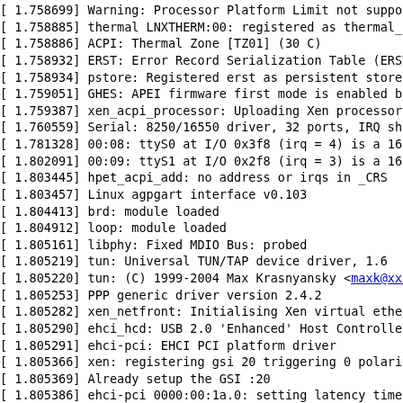[    1.758699] Warning: Processor Platform Limit not supported.
[    1.758885] thermal LNXTHERM:00: registered as thermal_zone0
[    1.758886] ACPI: Thermal Zone [TZ01] (30 C)
[    1.758932] ERST: Error Record Serialization Table (ERST) support is initialized.
[    1.758934] pstore: Registered erst as persistent store backend
[    1.759051] GHES: APEI firmware first mode is enabled by APEI bit and WHEA
[    1.759387] xen_acpi_processor: Uploading Xen processor PM info
[    1.760559] Serial: 8250/16550 driver, 32 ports, IRQ sharing enabled
[    1.781328] 00:08: ttyS0 at I/O 0x3f8 (irq = 4) is a 16550A
[    1.802091] 00:09: ttyS1 at I/O 0x2f8 (irq = 3) is a 16550A
[    1.803445] hpet_acpi_add: no address or irqs in _CRS
[    1.803457] Linux agpgart interface v0.103
[    1.804413] brd: module loaded
[    1.804912] loop: module loaded
[    1.805161] libphy: Fixed MDIO Bus: probed
[    1.805219] tun: Universal TUN/TAP device driver, 1.6
[    1.805220] tun: (C) 1999-2004 Max Krasnyansky <maxk@xxxxxxxxxxx>
[    1.805253] PPP generic driver version 2.4.2
[    1.805282] xen_netfront: Initialising Xen virtual ethernet driver
[    1.805290] ehci_hcd: USB 2.0 'Enhanced' Host Controller (EHCI) Driver
[    1.805291] ehci-pci: EHCI PCI platform driver
[    1.805366] xen: registering gsi 20 triggering 0 polarity 1
[    1.805369] Already setup the GSI :20
[    1.805386] ehci-pci 0000:00:1a.0: setting latency timer to 64
[    1.805393] ehci-pci 0000:00:1a.0: EHCI Host Controller